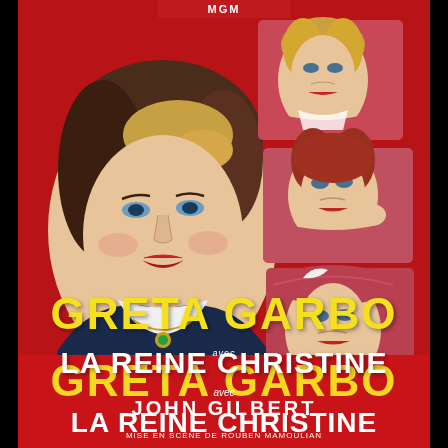[Figure (illustration): French movie poster for Queen Christina (La Reine Christine) featuring Greta Garbo. Deep red background. Large portrait of Greta Garbo on the left wearing a dark period costume with white collar and gold necklace. Three smaller portraits of Greta Garbo on the right in different costumes and poses. MGM logo text at top.]
GRETA GARBO
LA REINE CHRISTINE
avec JOHN GILBERT
MISE EN SCÈNE DE ROUBEN MAMOULIAN